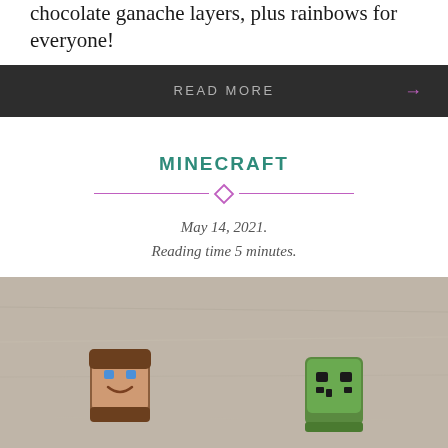chocolate ganache layers, plus rainbows for everyone!
READ MORE →
MINECRAFT
May 14, 2021.
Reading time 5 minutes.
[Figure (photo): Two Minecraft character figurines (Steve and a Creeper) made from fondant or sugar paste, photographed on a light gray surface.]